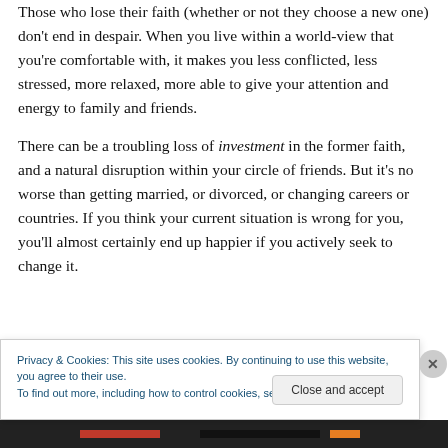Those who lose their faith (whether or not they choose a new one) don't end in despair. When you live within a world-view that you're comfortable with, it makes you less conflicted, less stressed, more relaxed, more able to give your attention and energy to family and friends.
There can be a troubling loss of investment in the former faith, and a natural disruption within your circle of friends. But it's no worse than getting married, or divorced, or changing careers or countries. If you think your current situation is wrong for you, you'll almost certainly end up happier if you actively seek to change it.
Privacy & Cookies: This site uses cookies. By continuing to use this website, you agree to their use.
To find out more, including how to control cookies, see here: Cookie Policy
Close and accept